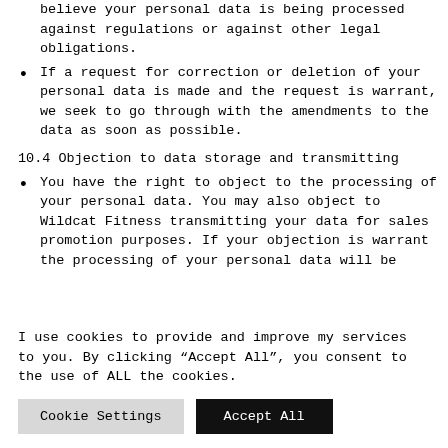believe your personal data is being processed against regulations or against other legal obligations.
If a request for correction or deletion of your personal data is made and the request is warrant, we seek to go through with the amendments to the data as soon as possible.
10.4 Objection to data storage and transmitting
You have the right to object to the processing of your personal data. You may also object to Wildcat Fitness transmitting your data for sales promotion purposes. If your objection is warrant the processing of your personal data will be
I use cookies to provide and improve my services to you. By clicking “Accept All”, you consent to the use of ALL the cookies.
Cookie Settings | Accept All